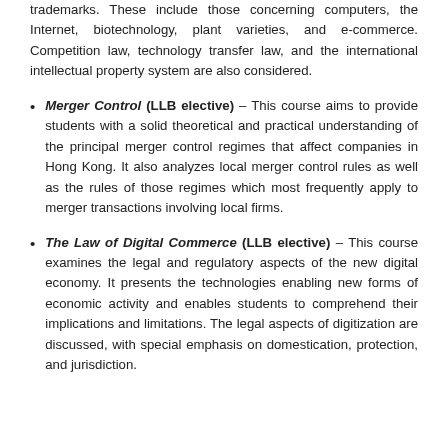trademarks. These include those concerning computers, the Internet, biotechnology, plant varieties, and e-commerce. Competition law, technology transfer law, and the international intellectual property system are also considered.
Merger Control (LLB elective) – This course aims to provide students with a solid theoretical and practical understanding of the principal merger control regimes that affect companies in Hong Kong. It also analyzes local merger control rules as well as the rules of those regimes which most frequently apply to merger transactions involving local firms.
The Law of Digital Commerce (LLB elective) – This course examines the legal and regulatory aspects of the new digital economy. It presents the technologies enabling new forms of economic activity and enables students to comprehend their implications and limitations. The legal aspects of digitization are discussed, with special emphasis on domestication, protection, and jurisdiction.